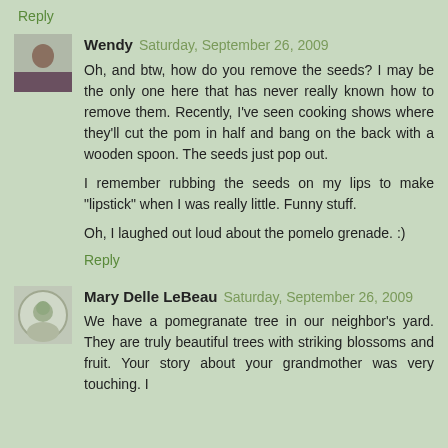Reply
[Figure (photo): Avatar photo of Wendy]
Wendy  Saturday, September 26, 2009
Oh, and btw, how do you remove the seeds? I may be the only one here that has never really known how to remove them. Recently, I've seen cooking shows where they'll cut the pom in half and bang on the back with a wooden spoon. The seeds just pop out.

I remember rubbing the seeds on my lips to make "lipstick" when I was really little. Funny stuff.

Oh, I laughed out loud about the pomelo grenade. :)
Reply
[Figure (photo): Avatar photo of Mary Delle LeBeau]
Mary Delle LeBeau  Saturday, September 26, 2009
We have a pomegranate tree in our neighbor's yard. They are truly beautiful trees with striking blossoms and fruit. Your story about your grandmother was very touching. I